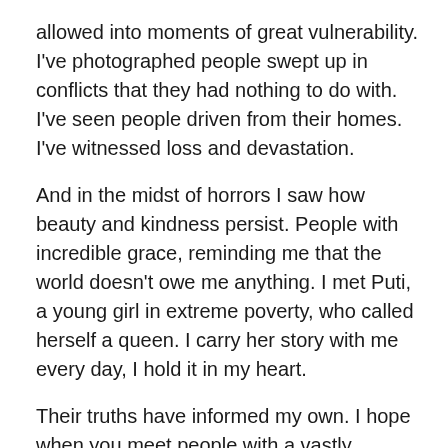allowed into moments of great vulnerability. I've photographed people swept up in conflicts that they had nothing to do with. I've seen people driven from their homes. I've witnessed loss and devastation.
And in the midst of horrors I saw how beauty and kindness persist. People with incredible grace, reminding me that the world doesn't owe me anything. I met Puti, a young girl in extreme poverty, who called herself a queen. I carry her story with me every day, I hold it in my heart.
Their truths have informed my own. I hope when you meet people with a vastly different reality that their truths might also inform yours.
And when you've finally built towards freedom, use it to plant gardens around you, to build bridges and safe